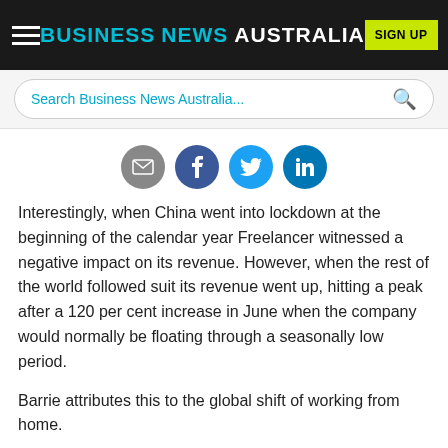BUSINESS NEWS AUSTRALIA | SIGN UP
Search Business News Australia...
[Figure (other): Social share buttons: email, Facebook, Twitter, LinkedIn]
Interestingly, when China went into lockdown at the beginning of the calendar year Freelancer witnessed a negative impact on its revenue. However, when the rest of the world followed suit its revenue went up, hitting a peak after a 120 per cent increase in June when the company would normally be floating through a seasonally low period.
Barrie attributes this to the global shift of working from home.
"No one is going to go back to the office 100 per cent," says Barrie.
"Really at the very beginning of Q2 things started taking off...